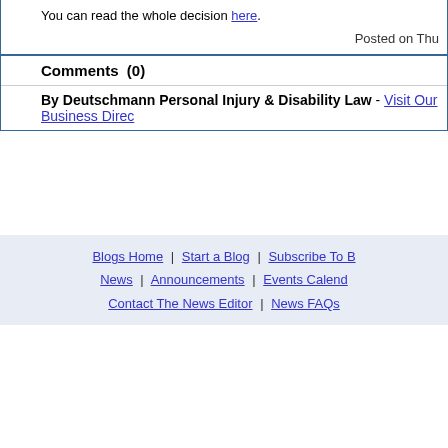You can read the whole decision here.
Posted on Thu
Comments (0)
By Deutschmann Personal Injury & Disability Law - Visit Our Business Direc...
Blogs Home | Start a Blog | Subscribe To B... | News | Announcements | Events Calend... | Contact The News Editor | News FAQs